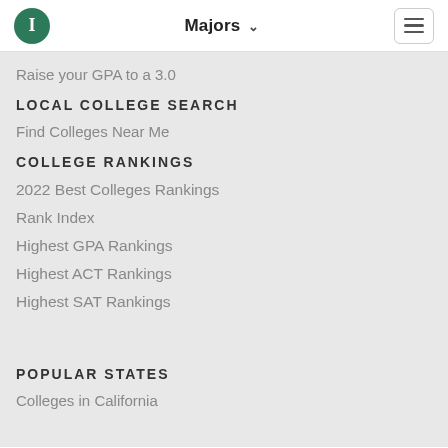Majors ▾
Raise your GPA to a 3.0
LOCAL COLLEGE SEARCH
Find Colleges Near Me
COLLEGE RANKINGS
2022 Best Colleges Rankings
Rank Index
Highest GPA Rankings
Highest ACT Rankings
Highest SAT Rankings
POPULAR STATES
Colleges in California